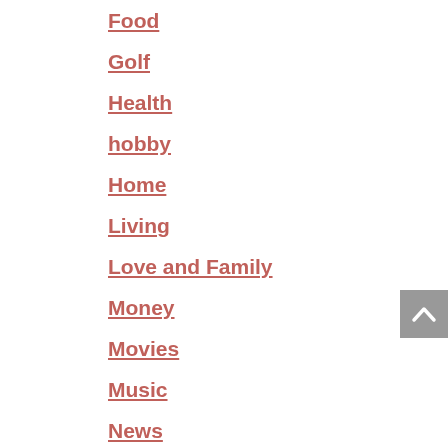Food
Golf
Health
hobby
Home
Living
Love and Family
Money
Movies
Music
News
Shopping
Site
Smoking
Tech